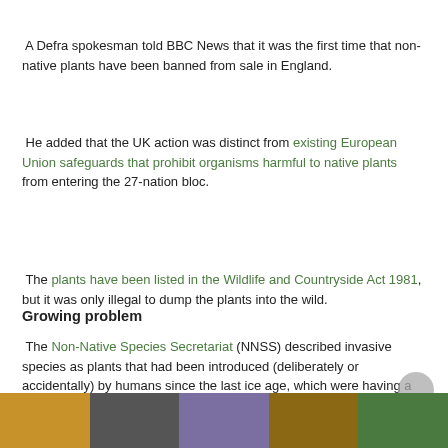A Defra spokesman told BBC News that it was the first time that non-native plants have been banned from sale in England.
He added that the UK action was distinct from existing European Union safeguards that prohibit organisms harmful to native plants from entering the 27-nation bloc.
The plants have been listed in the Wildlife and Countryside Act 1981, but it was only illegal to dump the plants into the wild.
Growing problem
The Non-Native Species Secretariat (NNSS) described invasive species as plants that had been introduced (deliberately or accidentally) by humans since the last ice age, which were having a detrimental impact on the economy, wildlife or habitats of Britain.
Continue reading the main story
[Figure (photo): A horizontal strip of five nature/wildlife photographs showing various invasive species including birds, plants, insects and reptiles.]